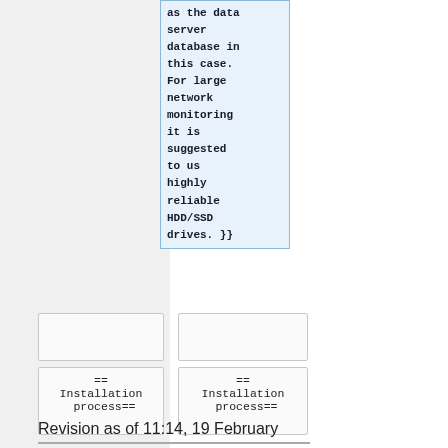as the data server database in this case. For large network monitoring it is suggested to us highly reliable HDD/SSD drives. }}
|  |  |
| == Installation process== | == Installation process== |
Revision as of 11:14, 19 February